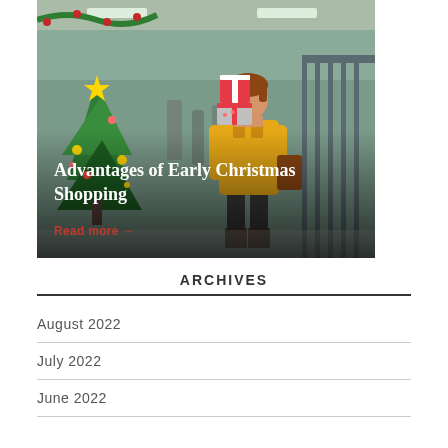[Figure (photo): Woman in yellow coat carrying Christmas gift boxes in a shopping mall with a decorated Christmas tree in the background]
Advantages of Early Christmas Shopping
Read more →
ARCHIVES
August 2022
July 2022
June 2022